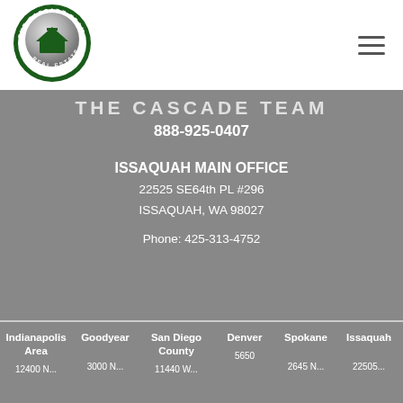[Figure (logo): The Cascade Team Real Estate circular logo with green border and silver/grey house icon]
THE CASCADE TEAM
888-925-0407
ISSAQUAH MAIN OFFICE
22525 SE64th PL #296
ISSAQUAH, WA 98027
Phone: 425-313-4752
Indianapolis Area
Goodyear
San Diego County
Denver
Spokane
Issaquah